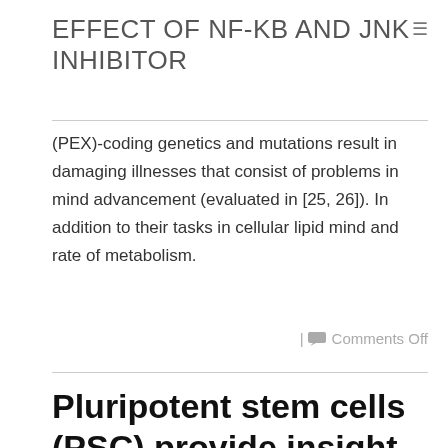EFFECT OF NF-KB AND JNK INHIBITOR
(PEX)-coding genetics and mutations result in damaging illnesses that consist of problems in mind advancement (evaluated in [25, 26]). In addition to their tasks in cellular lipid mind and rate of metabolism.
| Comments Off
Pluripotent stem cells (PSC) provide insight into development and